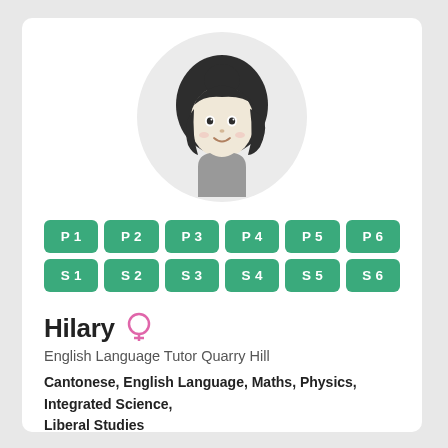[Figure (illustration): Cartoon avatar of a young woman with dark hair, smiling, wearing a grey top, inside a light grey circle]
P1 P2 P3 P4 P5 P6 S1 S2 S3 S4 S5 S6
Hilary
English Language Tutor Quarry Hill
Cantonese, English Language, Maths, Physics, Integrated Science, Liberal Studies